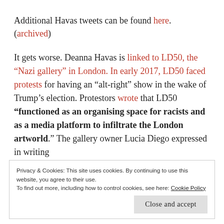Additional Havas tweets can be found here. (archived)
It gets worse. Deanna Havas is linked to LD50, the “Nazi gallery” in London. In early 2017, LD50 faced protests for having an “alt-right” show in the wake of Trump’s election. Protestors wrote that LD50 “functioned as an organising space for racists and as a media platform to infiltrate the London artworld.” The gallery owner Lucia Diego expressed in writing
Privacy & Cookies: This site uses cookies. By continuing to use this website, you agree to their use. To find out more, including how to control cookies, see here: Cookie Policy Close and accept